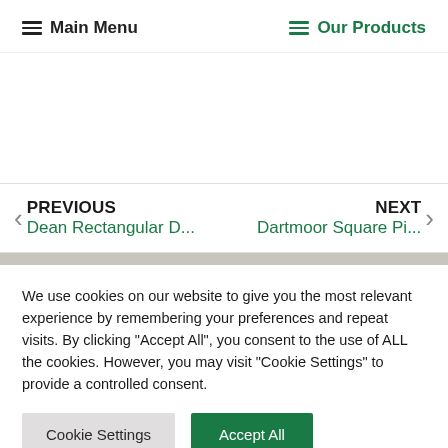Main Menu   Our Products
PREVIOUS
Dean Rectangular D...
NEXT
Dartmoor Square Pi...
We use cookies on our website to give you the most relevant experience by remembering your preferences and repeat visits. By clicking "Accept All", you consent to the use of ALL the cookies. However, you may visit "Cookie Settings" to provide a controlled consent.
Cookie Settings   Accept All